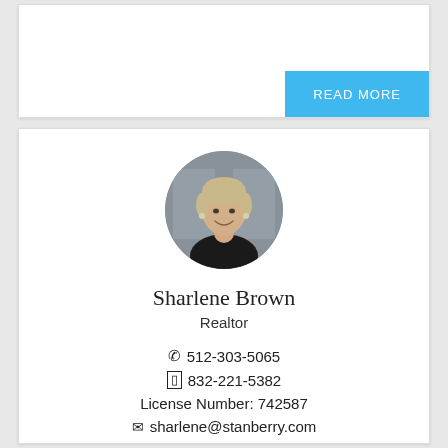[Figure (other): Top white card with a READ MORE button in blue at the bottom right]
READ MORE
[Figure (photo): Circular profile photo of Sharlene Brown, a woman with short blonde hair, smiling, wearing a black top, against a gray background]
Sharlene Brown
Realtor
512-303-5065
832-221-5382
License Number: 742587
sharlene@stanberry.com